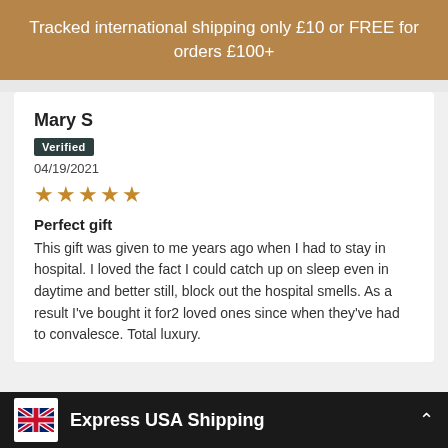Tracked international shipping only £10 or FREE for orders £100+
Mary S
Verified
04/19/2021
[Figure (other): 5 gold stars rating]
Perfect gift
This gift was given to me years ago when I had to stay in hospital. I loved the fact I could catch up on sleep even in daytime and better still, block out the hospital smells. As a result I've bought it for2 loved ones since when they've had to convalesce. Total luxury.
Express USA Shipping